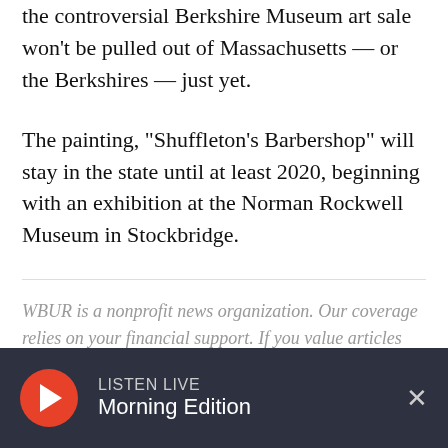the controversial Berkshire Museum art sale won't be pulled out of Massachusetts — or the Berkshires — just yet.
The painting, "Shuffleton's Barbershop" will stay in the state until at least 2020, beginning with an exhibition at the Norman Rockwell Museum in Stockbridge.
WBUR is a nonprofit news organization. Our coverage relies on your financial support. If you value articles like the one you're reading right now, give today.
LISTEN LIVE Morning Edition